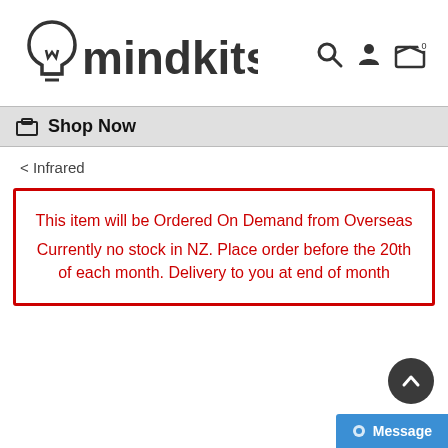[Figure (logo): Mindkits logo with lightbulb icon on the left and 'mindkits' text in dark gray bold font]
[Figure (infographic): Navigation icons: search (magnifying glass), account (person silhouette), cart (shopping cart with 0 badge)]
🛒 Shop Now
< Infrared
This item will be Ordered On Demand from Overseas
Currently no stock in NZ. Place order before the 20th of each month. Delivery to you at end of month